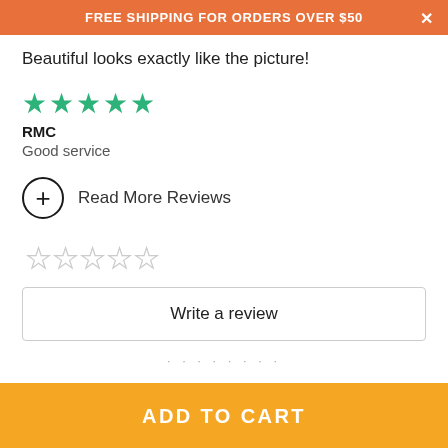FREE SHIPPING FOR ORDERS OVER $50
Beautiful looks exactly like the picture!
[Figure (other): Five filled green stars rating]
RMC
Good service
Read More Reviews
[Figure (other): Five empty star rating input]
Write a review
· · · · · · · ·
ADD TO CART